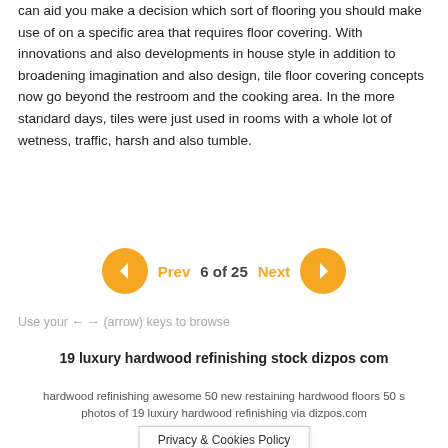can aid you make a decision which sort of flooring you should make use of on a specific area that requires floor covering. With innovations and also developments in house style in addition to broadening imagination and also design, tile floor covering concepts now go beyond the restroom and the cooking area. In the more standard days, tiles were just used in rooms with a whole lot of wetness, traffic, harsh and also tumble.
[Figure (other): Pagination navigation with orange circular arrow buttons, showing Prev and Next labels with '6 of 25' page counter]
Use your ← → (arrow) keys to browse
19 luxury hardwood refinishing stock dizpos com
hardwood refinishing awesome 50 new restaining hardwood floors 50 s photos of 19 luxury hardwood refinishing via dizpos.com
Privacy & Cookies Policy